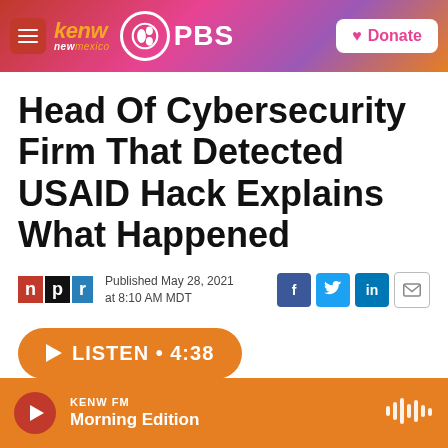[Figure (logo): KENW New Mexico PBS website header with logo, hamburger menu, and Donate button]
Head Of Cybersecurity Firm That Detected USAID Hack Explains What Happened
Published May 28, 2021 at 8:10 AM MDT
LISTEN • 4:38
KENW FM Morning Edition